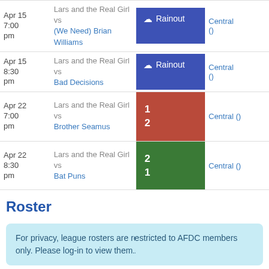| Date | Matchup | Result | Location |
| --- | --- | --- | --- |
| Apr 15 7:00 pm | Lars and the Real Girl vs (We Need) Brian Williams | Rainout | Central () |
| Apr 15 8:30 pm | Lars and the Real Girl vs Bad Decisions | Rainout | Central () |
| Apr 22 7:00 pm | Lars and the Real Girl vs Brother Seamus | 1
2 | Central () |
| Apr 22 8:30 pm | Lars and the Real Girl vs Bat Puns | 2
1 | Central () |
Roster
For privacy, league rosters are restricted to AFDC members only. Please log-in to view them.